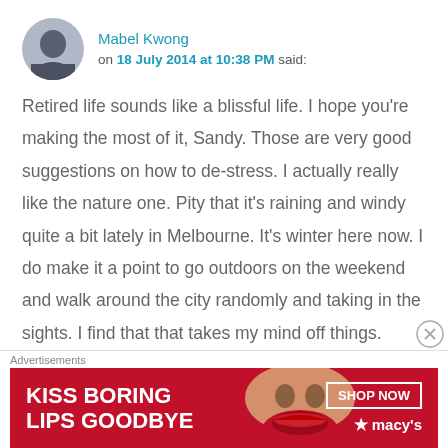[Figure (photo): Avatar photo of Mabel Kwong, a person with dark hair, circular profile image]
Mabel Kwong on 18 July 2014 at 10:38 PM said:
Retired life sounds like a blissful life. I hope you're making the most of it, Sandy. Those are very good suggestions on how to de-stress. I actually really like the nature one. Pity that it's raining and windy quite a bit lately in Melbourne. It's winter here now. I do make it a point to go outdoors on the weekend and walk around the city randomly and taking in the sights. I find that that takes my mind off things. Sometimes I like to go through my closet to find some treasure, that
Advertisements
[Figure (infographic): Macy's advertisement banner: red background with woman's face showing red lips, text 'KISS BORING LIPS GOODBYE', 'SHOP NOW', and Macy's star logo]